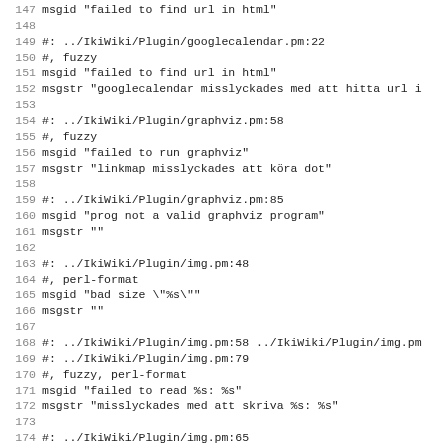Source code / PO file translation entries, lines 147-179
147 msgid "failed to find url in html" (partial/cut off at top)
148 (blank)
149 #: ../IkiWiki/Plugin/googlecalendar.pm:22
150 #, fuzzy
151 msgid "failed to find url in html"
152 msgstr "googlecalendar misslyckades med att hitta url i"
153 (blank)
154 #: ../IkiWiki/Plugin/graphviz.pm:58
155 #, fuzzy
156 msgid "failed to run graphviz"
157 msgstr "linkmap misslyckades att köra dot"
158 (blank)
159 #: ../IkiWiki/Plugin/graphviz.pm:85
160 msgid "prog not a valid graphviz program"
161 msgstr ""
162 (blank)
163 #: ../IkiWiki/Plugin/img.pm:48
164 #, perl-format
165 msgid "bad size \"%s\""
166 msgstr ""
167 (blank)
168 #: ../IkiWiki/Plugin/img.pm:58 ../IkiWiki/Plugin/img.pm
169 #: ../IkiWiki/Plugin/img.pm:79
170 #, fuzzy, perl-format
171 msgid "failed to read %s: %s"
172 msgstr "misslyckades med att skriva %s: %s"
173 (blank)
174 #: ../IkiWiki/Plugin/img.pm:65
175 #, fuzzy, perl-format
176 msgid "failed to resize: %s"
177 msgstr "misslyckades med att skriva %s: %s"
178 (blank)
179 #: ../IkiWiki/Plugin/img.pm:96